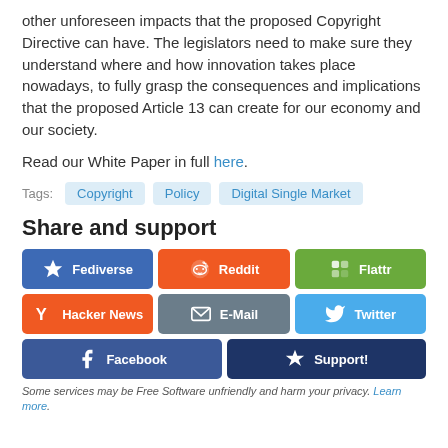other unforeseen impacts that the proposed Copyright Directive can have. The legislators need to make sure they understand where and how innovation takes place nowadays, to fully grasp the consequences and implications that the proposed Article 13 can create for our economy and our society.
Read our White Paper in full here.
Tags: Copyright  Policy  Digital Single Market
Share and support
[Figure (infographic): Social sharing buttons: Fediverse, Reddit, Flattr, Hacker News, E-Mail, Twitter, Facebook, Support!]
Some services may be Free Software unfriendly and harm your privacy. Learn more.